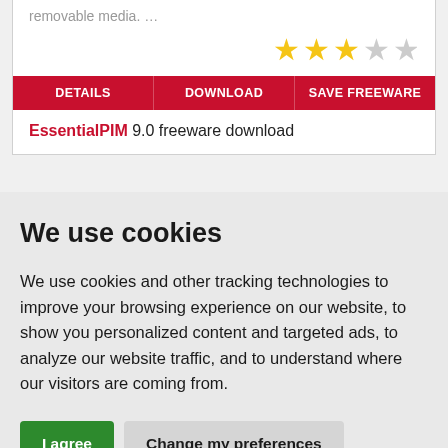removable media. ...
[Figure (other): 3 filled gold stars and 2 empty stars rating widget]
DETAILS   DOWNLOAD   SAVE FREEWARE
EssentialPIM 9.0 freeware download
We use cookies
We use cookies and other tracking technologies to improve your browsing experience on our website, to show you personalized content and targeted ads, to analyze our website traffic, and to understand where our visitors are coming from.
I agree   Change my preferences